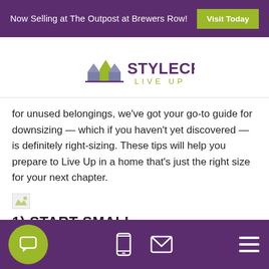Now Selling at The Outpost at Brewers Row! Visit Today
[Figure (logo): Stylecraft Live Up logo with house icons in purple and green]
for unused belongings, we've got your go-to guide for downsizing — which if you haven't yet discovered — is definitely right-sizing. These tips will help you prepare to Live Up in a home that's just the right size for your next chapter.
[Figure (photo): Broken/missing image placeholder]
1) START SMALL
Navigation bar with chat, mobile, email, and menu icons